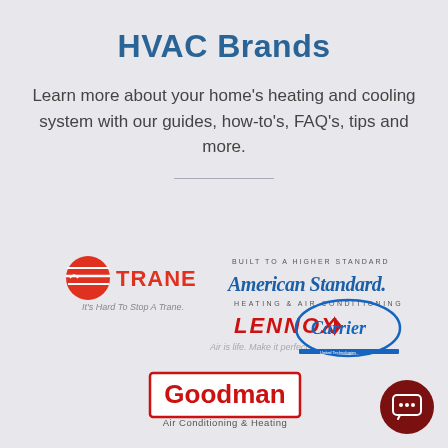HVAC Brands
Learn more about your home's heating and cooling system with our guides, how-to's, FAQ's, tips and more.
[Figure (logo): Five HVAC brand logos: Trane (red sphere icon with 'TRANE' in red, tagline 'It's Hard To Stop A Trane.'), Lennox (red text 'LENNOX' with arrow, tagline 'Air is life. Make it perfect.'), American Standard (script font with 'BUILT TO A HIGHER STANDARD' and 'HEATING & AIR CONDITIONING'), Carrier (blue oval with 'Carrier'), Goodman (red bordered box with 'Goodman' and 'Air Conditioning & Heating')]